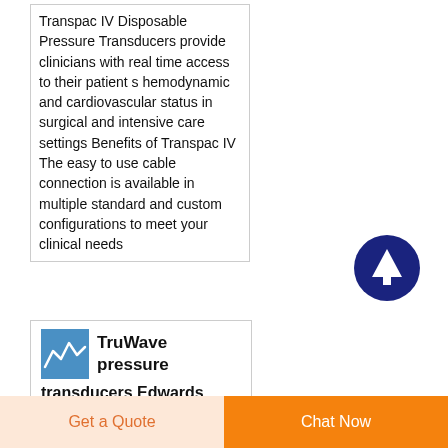Transpac IV Disposable Pressure Transducers provide clinicians with real time access to their patient s hemodynamic and cardiovascular status in surgical and intensive care settings Benefits of Transpac IV The easy to use cable connection is available in multiple standard and custom configurations to meet your clinical needs
[Figure (other): Dark navy blue circular button with white upward arrow icon]
[Figure (logo): TruWave brand logo: blue square with stylized waveform graphic]
TruWave pressure transducers Edwards
Get a Quote
Chat Now